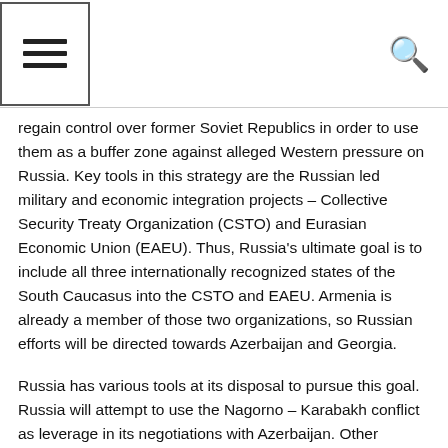[hamburger menu icon] [search icon]
regain control over former Soviet Republics in order to use them as a buffer zone against alleged Western pressure on Russia. Key tools in this strategy are the Russian led military and economic integration projects – Collective Security Treaty Organization (CSTO) and Eurasian Economic Union (EAEU). Thus, Russia's ultimate goal is to include all three internationally recognized states of the South Caucasus into the CSTO and EAEU. Armenia is already a member of those two organizations, so Russian efforts will be directed towards Azerbaijan and Georgia.
Russia has various tools at its disposal to pursue this goal. Russia will attempt to use the Nagorno – Karabakh conflict as leverage in its negotiations with Azerbaijan. Other options may include negotiations over the legal status of the Caspian Sea, and an exploitation of